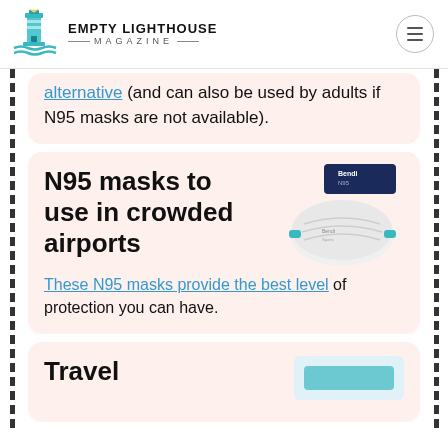Empty Lighthouse Magazine
alternative (and can also be used by adults if N95 masks are not available).
N95 masks to use in crowded airports
[Figure (photo): N95 respirator mask product photo]
These N95 masks provide the best level of protection you can have.
Travel